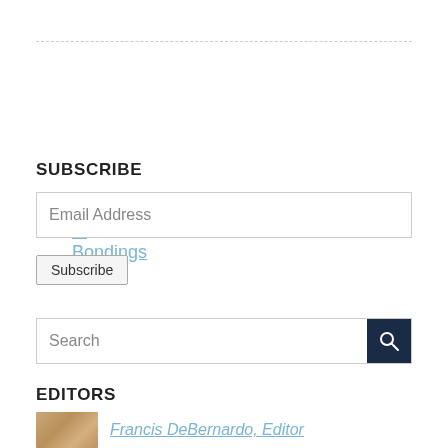Donate to Bondings 2.0
SUBSCRIBE
Email Address
Subscribe
Search
EDITORS
Francis DeBernardo, Editor